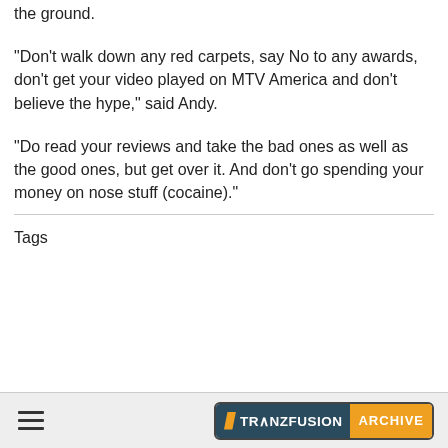the ground.
"Don't walk down any red carpets, say No to any awards, don't get your video played on MTV America and don't believe the hype," said Andy.
"Do read your reviews and take the bad ones as well as the good ones, but get over it. And don't go spending your money on nose stuff (cocaine)."
Tags
TRANZFUSION ARCHIVE